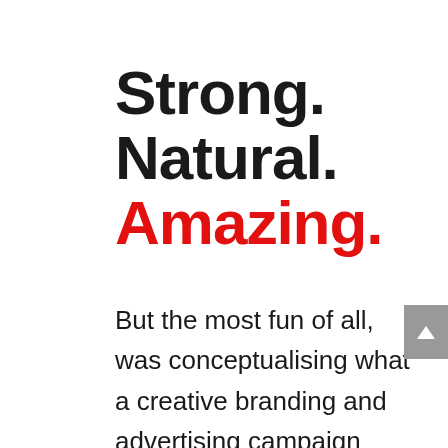Strong. Natural. Amazing.
But the most fun of all, was conceptualising what a creative branding and advertising campaign could